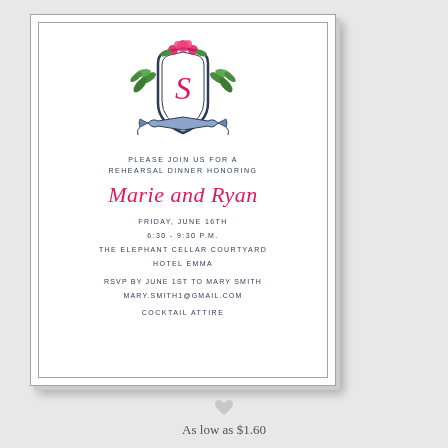[Figure (illustration): Wedding rehearsal dinner invitation card with decorative floral crest featuring a shield with letter S, pink roses, green leaves, and a navy ribbon banner below. White card with navy border.]
PLEASE JOIN US FOR A
REHEARSAL DINNER HONORING
Marie and Ryan
FRIDAY, JUNE 16TH
6:30 - 9:30 P.M.
THE ELEPHANT CELLAR COURTYARD
HOTEL EMMA
RSVP BY JUNE 1ST TO MARY SMITH
MARY.SMITH1@GMAIL.COM
COCKTAIL ATTIRE
[Figure (illustration): Small grey heart icon]
As low as $1.60